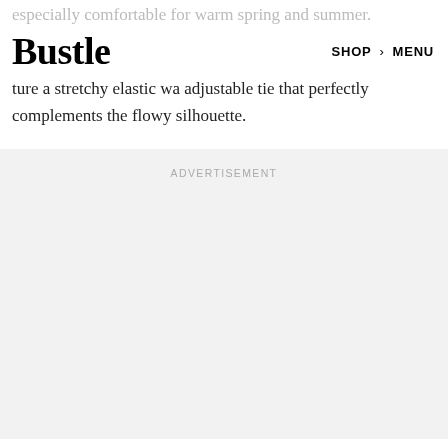especially comfortable for warm spring and summer.
Bustle  SHOP  MENU
ture a stretchy elastic wa adjustable tie that perfectly complements the flowy silhouette.
ADVERTISEMENT